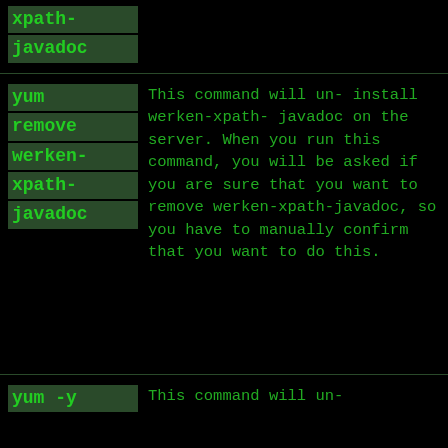xpath-
javadoc
yum remove werken-xpath-javadoc
This command will un-install werken-xpath-javadoc on the server. When you run this command, you will be asked if you are sure that you want to remove werken-xpath-javadoc, so you have to manually confirm that you want to do this.
yum -y
This command will un-